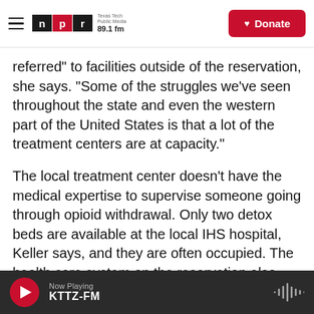NPR — Texas Tech Public Media 89.1 fm | Donate
referred" to facilities outside of the reservation, she says. "Some of the struggles we've seen throughout the state and even the western part of the United States is that a lot of the treatment centers are at capacity."
The local treatment center doesn't have the medical expertise to supervise someone going through opioid withdrawal. Only two detox beds are available at the local IHS hospital, Keller says, and they are often occupied. The health care system on the reservation also doesn't offer drugs used to treat opioid addictions. The nearest locations to get
Now Playing KTTZ-FM